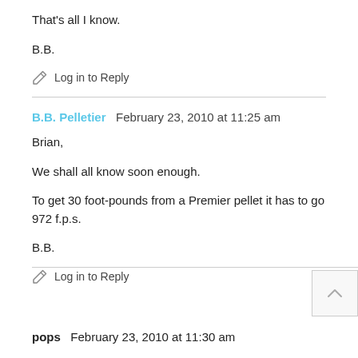That's all I know.
B.B.
Log in to Reply
B.B. Pelletier   February 23, 2010 at 11:25 am
Brian,
We shall all know soon enough.
To get 30 foot-pounds from a Premier pellet it has to go 972 f.p.s.
B.B.
Log in to Reply
pops   February 23, 2010 at 11:30 am